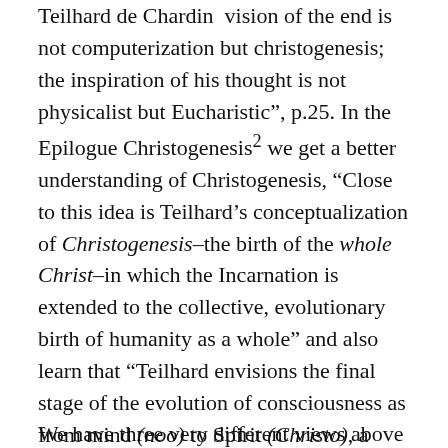Teilhard de Chardin  vision of the end is not computerization but christogenesis; the inspiration of his thought is not physicalist but Eucharistic”, p.25. In the Epilogue Christogenesis² we get a better understanding of Christogenesis, “Close to this idea is Teilhard’s conceptualization of Christogenesis–the birth of the whole Christ–in which the Incarnation is extended to the collective, evolutionary birth of humanity as a whole” and also learn that “Teilhard envisions the final stage of the evolution of consciousness as from mind (noo) to Spirit (Christo), a process he understands Paul to have begun on the road to Damascus.”
We have three very different views above to